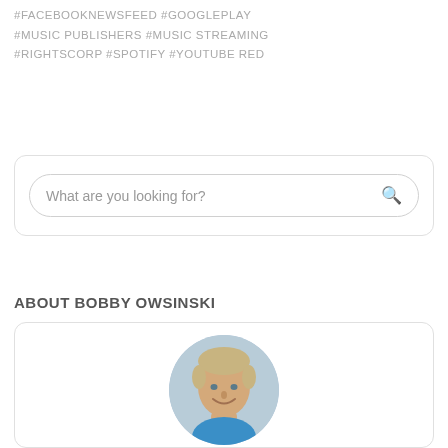#FACEBOOKNEWSFEED #GOOGLEPLAY #MUSIC PUBLISHERS #MUSIC STREAMING #RIGHTSCORP #SPOTIFY #YOUTUBE RED
What are you looking for?
ABOUT BOBBY OWSINSKI
[Figure (photo): Circular profile photo of Bobby Owsinski, a middle-aged man with short blonde hair, smiling, wearing a blue jacket, against a light gray background.]